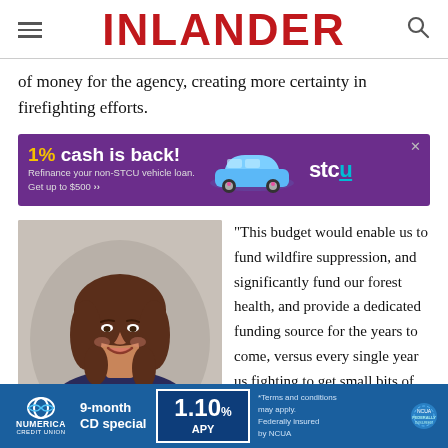INLANDER
of money for the agency, creating more certainty in firefighting efforts.
[Figure (infographic): STCU advertisement: '1% cash is back! Refinance your non-STCU vehicle loan. Get up to $500 >>' with a blue car graphic and STCU logo on purple background.]
[Figure (photo): Portrait photo of a woman with brown wavy hair, smiling, wearing a dark top, against a light gray background.]
"This budget would enable us to fund wildfire suppression, and significantly fund our forest health, and provide a dedicated funding source for the years to come, versus every single year us fighting to get small bits of money,"
[Figure (infographic): Numerica Credit Union advertisement: 9-month CD special 1.10% APY. Terms and conditions may apply. Federally insured by NCUA.]